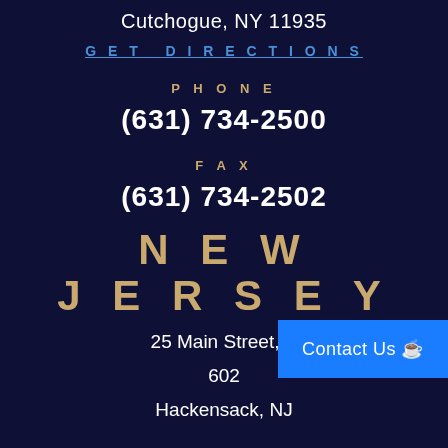Cutchogue, NY 11935
GET DIRECTIONS
PHONE
(631) 734-2500
FAX
(631) 734-2502
NEW JERSEY
25 Main Street, S 602
Hackensack, NJ
Contact Us